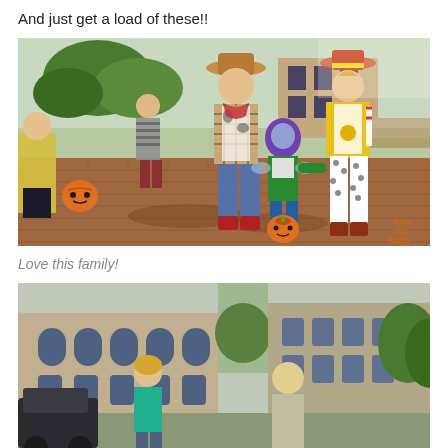And just get a load of these!!
[Figure (photo): Family dressed in Halloween costumes outdoors on a brick plaza. Adults wearing Woody and Jessie (Toy Story) costumes, a small child dressed as Buzz Lightyear holding a pumpkin candy bucket, and other children nearby. Watermark reads 'love my burg'.]
Love this family!
[Figure (photo): Outdoor photo showing people near a historic stone building with arched windows. A woman in teal is visible along with another person, with trees and architecture in the background.]